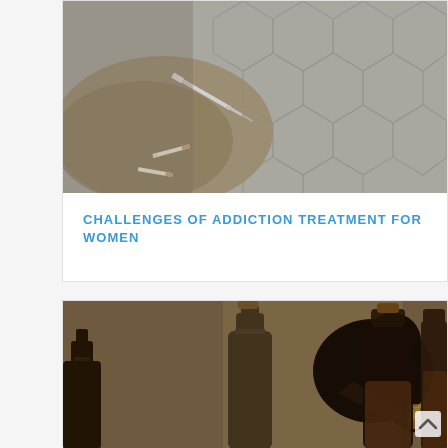[Figure (photo): Photo of drug paraphernalia (syringe, cigarettes) on a hexagonal paved surface]
CHALLENGES OF ADDICTION TREATMENT FOR WOMEN
[Figure (photo): Photo of a man drinking alcohol surrounded by bottles in dim lighting]